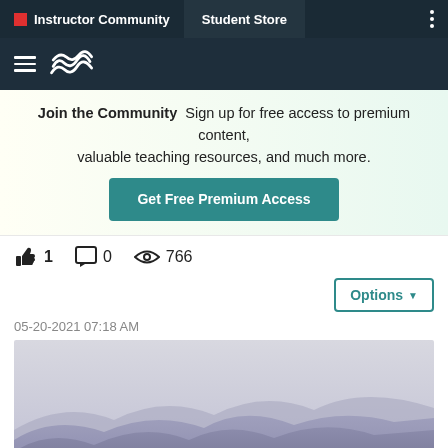Instructor Community | Student Store
[Figure (screenshot): Website navigation bar with hamburger menu and wave logo on dark background]
Join the Community  Sign up for free access to premium content, valuable teaching resources, and much more.
Get Free Premium Access
1  0  766
Options
05-20-2021 07:18 AM
[Figure (photo): Misty blue mountain ridgelines layered in haze, landscape photo]